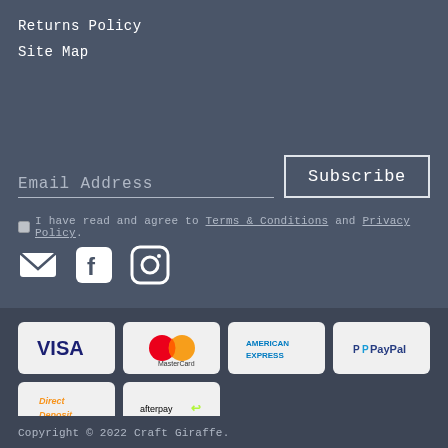Returns Policy
Site Map
Email Address  [Subscribe]
I have read and agree to Terms & Conditions and Privacy Policy.
[Figure (illustration): Social media icons: email (envelope), Facebook, Instagram]
[Figure (illustration): Payment method logos: VISA, MasterCard, American Express, PayPal, Direct Deposit, afterpay]
Copyright © 2022 Craft Giraffe.